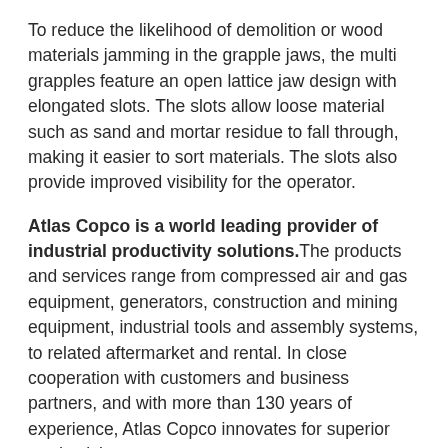To reduce the likelihood of demolition or wood materials jamming in the grapple jaws, the multi grapples feature an open lattice jaw design with elongated slots. The slots allow loose material such as sand and mortar residue to fall through, making it easier to sort materials. The slots also provide improved visibility for the operator.
Atlas Copco is a world leading provider of industrial productivity solutions. The products and services range from compressed air and gas equipment, generators, construction and mining equipment, industrial tools and assembly systems, to related aftermarket and rental. In close cooperation with customers and business partners, and with more than 130 years of experience, Atlas Copco innovates for superior productivity.